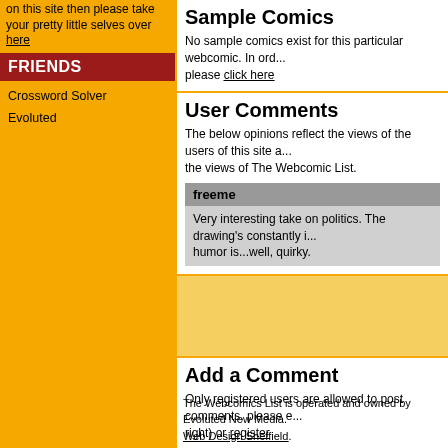on this site then please take your pretty little selves over here
FRIENDS
Crossword Solver
Evoluted
Sample Comics
No sample comics exist for this particular webcomic. In order... please click here
User Comments
The below opinions reflect the views of the users of this site and not the views of The Webcomic List.
freeme
Very interesting take on politics. The drawing's constantly i... humor is...well, quirky.
Add a Comment
Only registered users are allowed to post comments, please e... right) or register
The Webcomics List is operated and owned by Evoluted New Media. Web Design Sheffield.